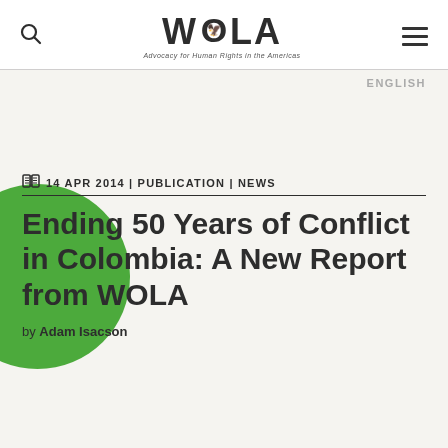WOLA — Advocacy for Human Rights in the Americas
ENGLISH
14 APR 2014 | PUBLICATION | NEWS
Ending 50 Years of Conflict in Colombia: A New Report from WOLA
by Adam Isacson